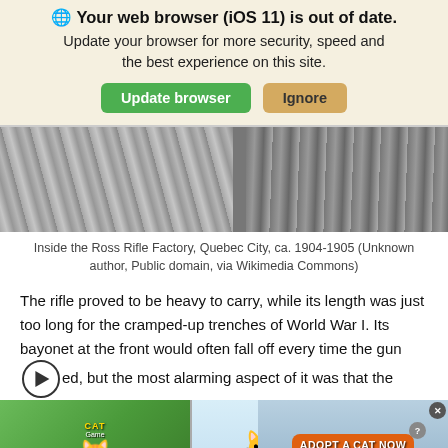🌐 Your web browser (iOS 11) is out of date. Update your browser for more security, speed and the best experience on this site.
[Figure (photo): Black and white photograph showing the interior of the Ross Rifle Factory, Quebec City, ca. 1904-1905, with wooden structures and rifle components visible.]
Inside the Ross Rifle Factory, Quebec City, ca. 1904-1905 (Unknown author, Public domain, via Wikimedia Commons)
The rifle proved to be heavy to carry, while its length was just too long for the cramped-up trenches of World War I. Its bayonet at the front would often fall off every time the gun [fired], but the most alarming aspect of it was that the
[Figure (screenshot): Cat game advertisement banner showing cartoon cats and 'ADOPT A CAT NOW' call to action button, with Cat Game logo on left side.]